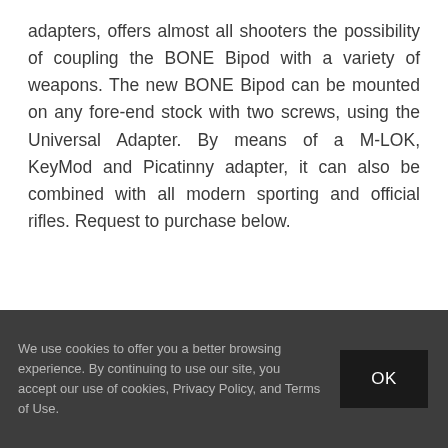adapters, offers almost all shooters the possibility of coupling the BONE Bipod with a variety of weapons. The new BONE Bipod can be mounted on any fore-end stock with two screws, using the Universal Adapter. By means of a M-LOK, KeyMod and Picatinny adapter, it can also be combined with all modern sporting and official rifles. Request to purchase below.
We use cookies to offer you a better browsing experience. By continuing to use our site, you accept our use of cookies, Privacy Policy, and Terms of Use.